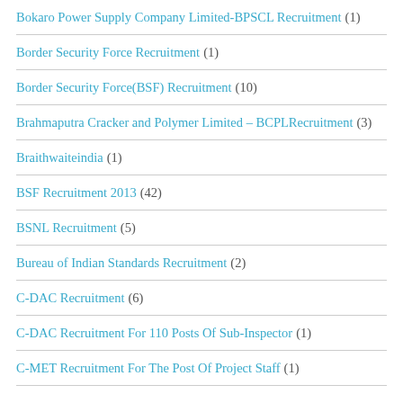Bokaro Power Supply Company Limited-BPSCL Recruitment (1)
Border Security Force Recruitment (1)
Border Security Force(BSF) Recruitment (10)
Brahmaputra Cracker and Polymer Limited – BCPLRecruitment (3)
Braithwaiteindia (1)
BSF Recruitment 2013 (42)
BSNL Recruitment (5)
Bureau of Indian Standards Recruitment (2)
C-DAC Recruitment (6)
C-DAC Recruitment For 110 Posts Of Sub-Inspector (1)
C-MET Recruitment For The Post Of Project Staff (1)